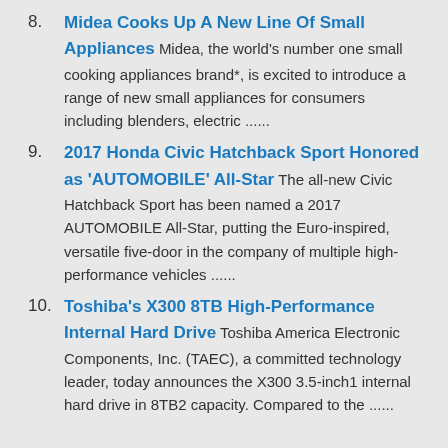8. Midea Cooks Up A New Line Of Small Appliances Midea, the world's number one small cooking appliances brand*, is excited to introduce a range of new small appliances for consumers including blenders, electric ......
9. 2017 Honda Civic Hatchback Sport Honored as 'AUTOMOBILE' All-Star The all-new Civic Hatchback Sport has been named a 2017 AUTOMOBILE All-Star, putting the Euro-inspired, versatile five-door in the company of multiple high-performance vehicles ......
10. Toshiba's X300 8TB High-Performance Internal Hard Drive Toshiba America Electronic Components, Inc. (TAEC), a committed technology leader, today announces the X300 3.5-inch1 internal hard drive in 8TB2 capacity. Compared to the ......